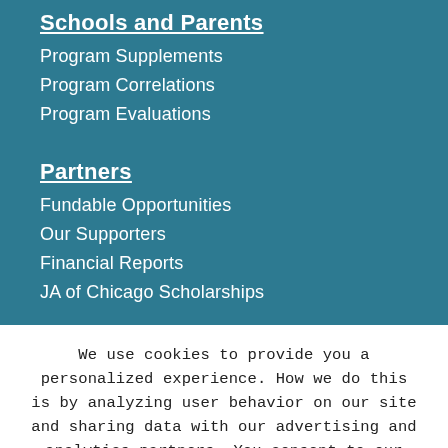Schools and Parents
Program Supplements
Program Correlations
Program Evaluations
Partners
Fundable Opportunities
Our Supporters
Financial Reports
JA of Chicago Scholarships
We use cookies to provide you a personalized experience. How we do this is by analyzing user behavior on our site and sharing data with our advertising and analytics partners. You consent to our cookie policy if you continue to use this website.
I UNDERSTAND